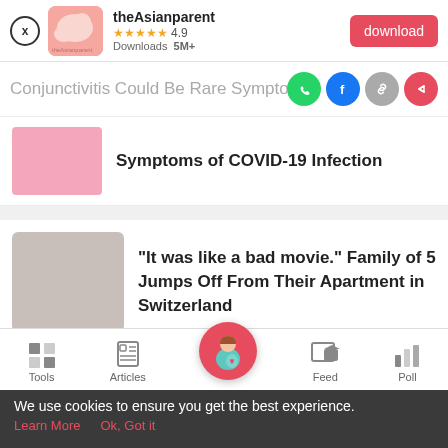[Figure (screenshot): theAsianparent app banner with app icon, star rating 4.9, Downloads 5M+, and a download button]
Conjunctivitis Could Be Rare Sympto
Symptoms of COVID-19 Infection
"It was like a bad movie." Family of 5 Jumps Off From Their Apartment in Switzerland
[Figure (screenshot): Bottom navigation bar with Tools, Articles, home (pregnancy icon), Feed, Poll]
We use cookies to ensure you get the best experience.
Learn More   Ok, Got it